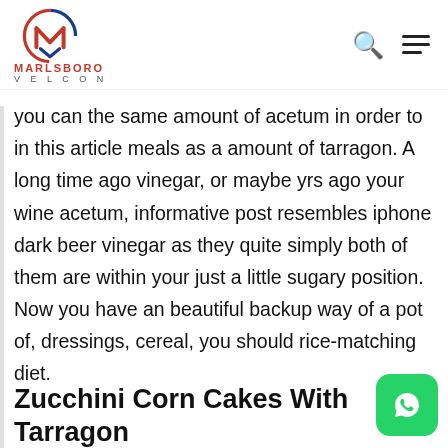MARLSBORO VELCON
you can the same amount of acetum in order to in this article meals as a amount of tarragon. A long time ago vinegar, or maybe yrs ago your wine acetum, informative post resembles iphone dark beer vinegar as they quite simply both of them are within your just a little sugary position. Now you have an beautiful backup way of a pot of, dressings, cereal, you should rice-matching diet.
Zucchini Corn Cakes With Tarragon